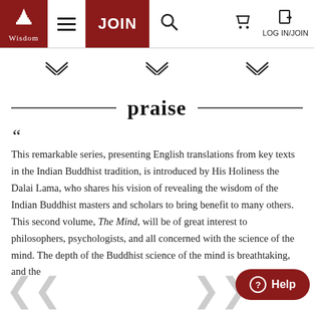[Figure (screenshot): Website navigation bar with Wisdom Publications logo, hamburger menu, JOIN button, search icon, cart icon, and LOG IN/JOIN link]
[Figure (infographic): Three dropdown chevron/arrow icons for website navigation categories]
praise
This remarkable series, presenting English translations from key texts in the Indian Buddhist tradition, is introduced by His Holiness the Dalai Lama, who shares his vision of revealing the wisdom of the Indian Buddhist masters and scholars to bring benefit to many others. This second volume, The Mind, will be of great interest to philosophers, psychologists, and all concerned with the science of the mind. The depth of the Buddhist science of the mind is breathtaking, and the